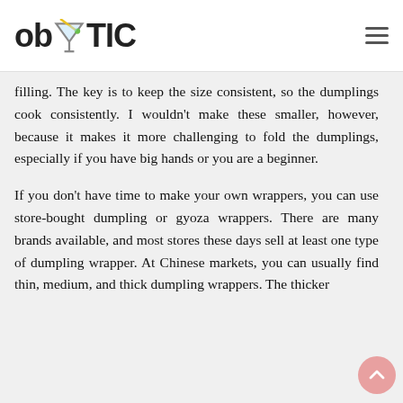ob TIC
filling. The key is to keep the size consistent, so the dumplings cook consistently. I wouldn't make these smaller, however, because it makes it more challenging to fold the dumplings, especially if you have big hands or you are a beginner.
If you don't have time to make your own wrappers, you can use store-bought dumpling or gyoza wrappers. There are many brands available, and most stores these days sell at least one type of dumpling wrapper. At Chinese markets, you can usually find thin, medium, and thick dumpling wrappers. The thicker